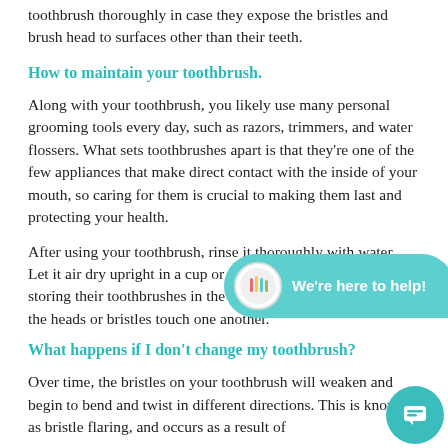toothbrush thoroughly in case they expose the bristles and brush head to surfaces other than their teeth.
How to maintain your toothbrush.
Along with your toothbrush, you likely use many personal grooming tools every day, such as razors, trimmers, and water flossers. What sets toothbrushes apart is that they're one of the few appliances that make direct contact with the inside of your mouth, so caring for them is crucial to making them last and protecting your health.
After using your toothbrush, rinse it thoroughly with water. Let it air dry upright in a cup or container, but if others are storing their toothbrushes in the same container, try not to let the heads or bristles touch one another.
What happens if I don't change my toothbrush?
Over time, the bristles on your toothbrush will weaken and begin to bend and twist in different directions. This is known as bristle flaring, and occurs as a result of